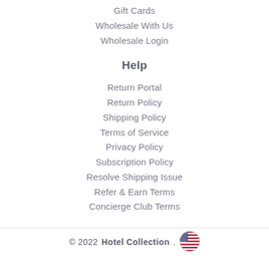Gift Cards
Wholesale With Us
Wholesale Login
Help
Return Portal
Return Policy
Shipping Policy
Terms of Service
Privacy Policy
Subscription Policy
Resolve Shipping Issue
Refer & Earn Terms
Concierge Club Terms
© 2022 Hotel Collection.